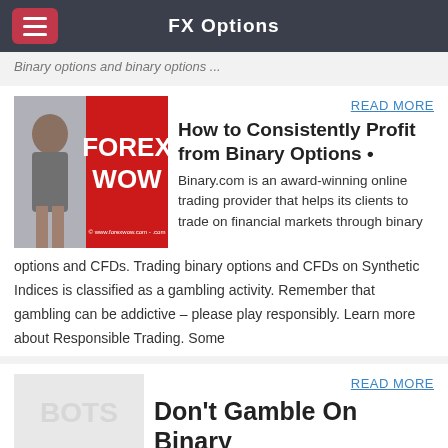FX Options
Binary options and binary options ...
[Figure (photo): FOREX WOW promotional image with woman and red background]
READ MORE
How to Consistently Profit from Binary Options •
Binary.com is an award-winning online trading provider that helps its clients to trade on financial markets through binary options and CFDs. Trading binary options and CFDs on Synthetic Indices is classified as a gambling activity. Remember that gambling can be addictive – please play responsibly. Learn more about Responsible Trading. Some
[Figure (photo): Faded background image for second article]
READ MORE
Don't Gamble On Binary Options - Forbes